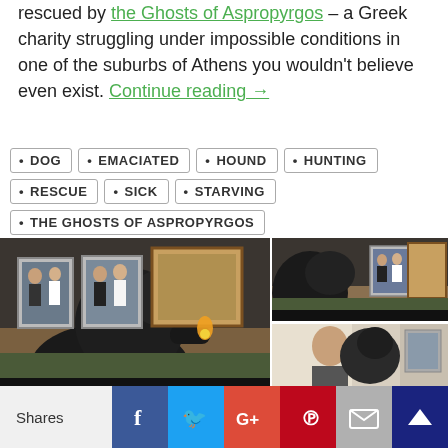rescued by the Ghosts of Aspropyrgos – a Greek charity struggling under impossible conditions in one of the suburbs of Athens you wouldn't believe even exist. Continue reading →
• DOG  • EMACIATED  • HOUND  • HUNTING  • RESCUE  • SICK  • STARVING  • THE GHOSTS OF ASPROPYRGOS
[Figure (photo): Photo collage of a dark dog looking at framed photos on a table. Left: large image of dog with paws on table, framed photos and a candle visible. Top right: closer view of same scene. Bottom right: person holding the dog.]
Shares | Facebook | Twitter | Google+ | Pinterest | Email | Other